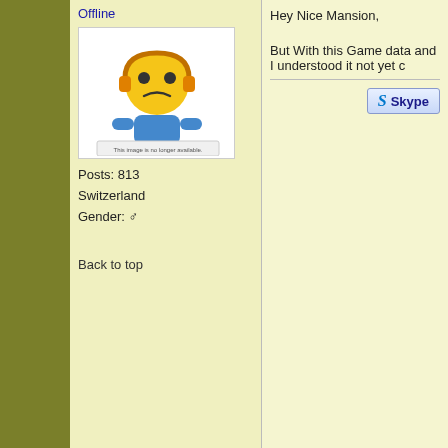Offline
[Figure (illustration): Sad yellow robot avatar with headphones, tinypic placeholder image]
Posts: 813
Switzerland
Gender: male
Back to top
[Figure (screenshot): Skype button]
Chippy
Treasure Hunter
Offline
[Figure (illustration): Sad yellow robot avatar with headphones, tinypic placeholder image]
Posts: 813
Switzerland
Gender: male
Re: Dominator
Reply #1 - 25.04.2007 at 02:25:08
Hey, who can help me with the Game data, has this m
Back to top
[Figure (screenshot): Skype button]
Olle the Greatest
Adventurer
Re: Do > Dominator
Reply #2 - 02.08.2008 at 05:10:03